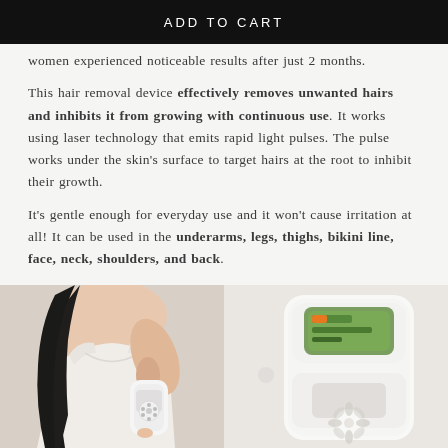ADD TO CART
women experienced noticeable results after just 2 months.

This hair removal device effectively removes unwanted hairs and inhibits it from growing with continuous use. It works using laser technology that emits rapid light pulses. The pulse works under the skin's surface to target hairs at the root to inhibit their growth.

It's gentle enough for everyday use and it won't cause irritation at all! It can be used in the underarms, legs, thighs, bikini line, face, neck, shoulders, and back.
[Figure (photo): Two product images side by side: left shows a woman using a white handheld laser hair removal device on her underarm area; right shows a close-up of the white laser hair removal device with a display screen and decorative floral pattern.]